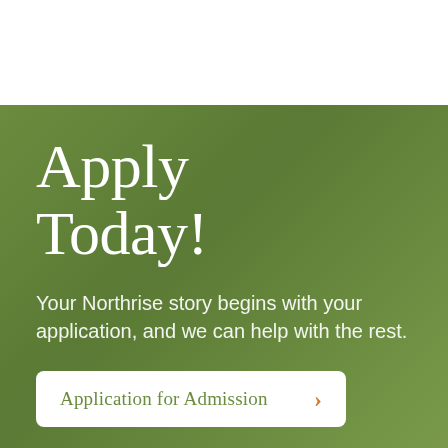Apply Today!
Your Northrise story begins with your application, and we can help with the rest.
Application for Admission